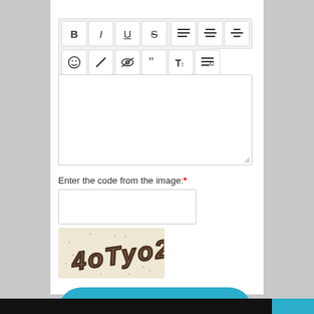[Figure (screenshot): A web form UI screenshot showing a rich text editor toolbar with formatting buttons (B, I, U, S, alignment icons, emoji, pen, eye-slash, quote, font size, list), an empty text area below it, a CAPTCHA label 'Enter the code from the image:*', an input field, a CAPTCHA image with distorted text '4oTyo2', and a teal 'Send message' button.]